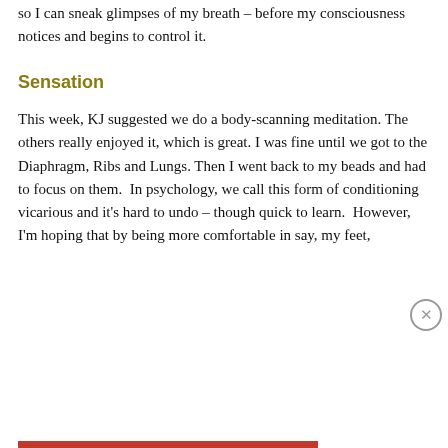so I can sneak glimpses of my breath – before my consciousness notices and begins to control it.
Sensation
This week, KJ suggested we do a body-scanning meditation. The others really enjoyed it, which is great. I was fine until we got to the Diaphragm, Ribs and Lungs. Then I went back to my beads and had to focus on them.  In psychology, we call this form of conditioning vicarious and it's hard to undo – though quick to learn.  However, I'm hoping that by being more comfortable in say, my feet,
Privacy & Cookies: This site uses cookies. By continuing to use this website, you agree to their use.
To find out more, including how to control cookies, see here: Cookie Policy
Close and accept